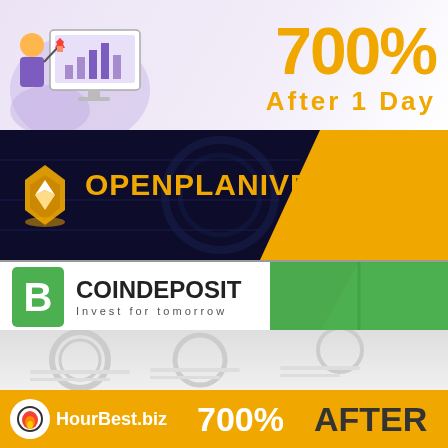[Figure (infographic): Investment promotional banner with illustration of person at computer with charts, purple/lavender background. Large gold text '700%' and 'After 1 Day']
[Figure (logo): OPENPLANIVEST logo banner on dark navy background with gold text and yellow right panel. Logo icon on left.]
[Figure (logo): COINDEPOSIT logo banner. Green Bitcoin 'B' logo on left, black bold COINDEPOSIT text, 'Invest for tomorrow' subtitle. Right half green background.]
[Figure (infographic): Faded cryptocurrency coins background banner (light gray/white)]
[Figure (logo): HourBest.biz promotional banner on gold/yellow background. Logo with fire icon, white text 'HourBest.biz', then '700%' in white and 'AFTER' in dark text.]